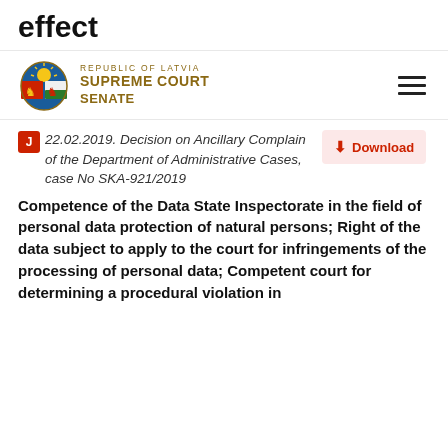effect
Republic of Latvia Supreme Court Senate
22.02.2019. Decision on Ancillary Complain of the Department of Administrative Cases, case No SKA-921/2019
Download
Competence of the Data State Inspectorate in the field of personal data protection of natural persons; Right of the data subject to apply to the court for infringements of the processing of personal data; Competent court for determining a procedural violation in